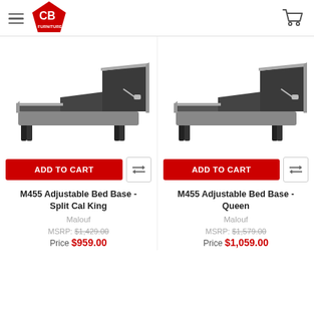CB Furniture - Navigation header with logo and cart
[Figure (photo): M455 Adjustable Bed Base - Split Cal King product image showing an adjustable bed base raised at head and foot]
[Figure (photo): M455 Adjustable Bed Base - Queen product image showing an adjustable bed base raised at head and foot]
ADD TO CART
ADD TO CART
M455 Adjustable Bed Base - Split Cal King
M455 Adjustable Bed Base - Queen
Malouf
Malouf
MSRP: $1,429.00
Price $959.00
MSRP: $1,579.00
Price $1,059.00